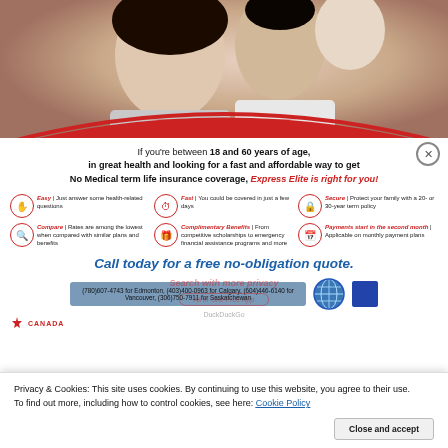[Figure (photo): Family photo showing a woman, man, and baby/child smiling together against a white/light background]
If you're between 18 and 60 years of age, in great health and looking for a fast and affordable way to get No Medical term life insurance coverage, Express Elite is right for you!
[Figure (infographic): Six feature icons in a 2-row, 3-column grid: Easy - Just answer some health-related questions; Fast - You could be covered in just a few days; Secure - Protect your family with a 20- or 30-year term policy; Compare - Rates are among the lowest when compared with similar plans and benefits; Complimentary Benefits - From competitive scholarships to emergency financial assistance programs and more; Payments start in the second month - Applicable on monthly payment plans]
Call today for a free no-obligation quote.
(780)607-4743 for Edmonton, (403)400-0963 for Calgary, (604)446-6140 for Vancouver, (306)750-7911 for Saskatchewan
Privacy & Cookies: This site uses cookies. By continuing to use this website, you agree to their use.
To find out more, including how to control cookies, see here: Cookie Policy